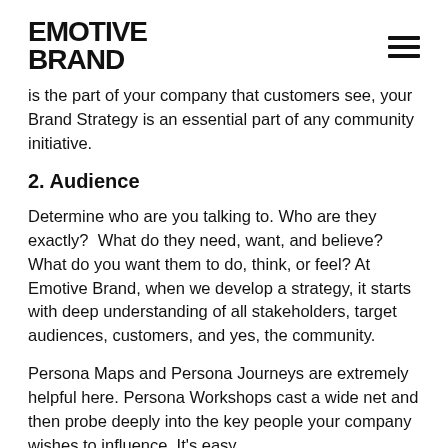EMOTIVE BRAND
is the part of your company that customers see, your Brand Strategy is an essential part of any community initiative.
2. Audience
Determine who are you talking to. Who are they exactly?  What do they need, want, and believe? What do you want them to do, think, or feel? At Emotive Brand, when we develop a strategy, it starts with deep understanding of all stakeholders, target audiences, customers, and yes, the community.
Persona Maps and Persona Journeys are extremely helpful here. Persona Workshops cast a wide net and then probe deeply into the key people your company wishes to influence. It's easy